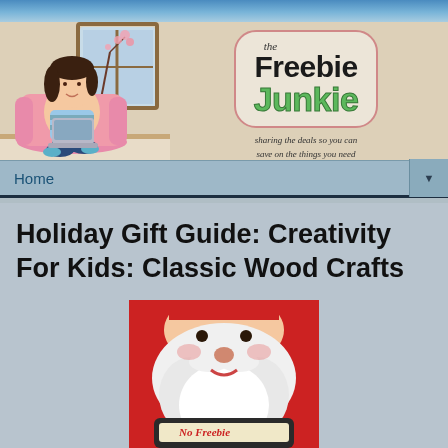[Figure (illustration): The Freebie Junkie blog header banner with cartoon woman sitting in pink chair with laptop, window with cherry blossoms behind her, and 'the Freebie Junkie' logo with tagline 'sharing the deals so you can save on the things you need']
Home
Holiday Gift Guide: Creativity For Kids: Classic Wood Crafts
[Figure (photo): Product image showing a Santa Claus figure holding a sign that reads 'No Freebie' (partially visible), on a red background]